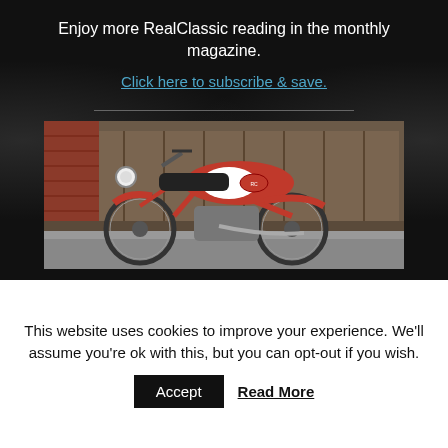Enjoy more RealClassic reading in the monthly magazine.
Click here to subscribe & save.
[Figure (photo): A classic red and white motorcycle (appears to be a vintage Italian model) parked in front of a wooden fence and brick wall.]
This website uses cookies to improve your experience. We'll assume you're ok with this, but you can opt-out if you wish.
Accept   Read More